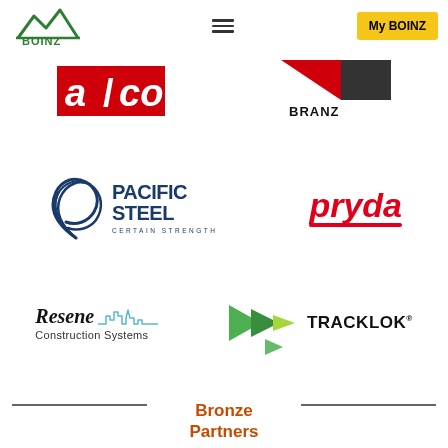[Figure (logo): BOINZ logo - green mountain/house outline with BOINZ text]
[Figure (logo): Hamburger menu icon]
[Figure (logo): My BOINZ yellow button]
[Figure (logo): ALCO logo - red and white]
[Figure (logo): BRANZ logo - red and black triangles with BRANZ text]
[Figure (logo): Pacific Steel logo - blue icon with PACIFIC STEEL text and CERTAIN STRENGTH tagline]
[Figure (logo): pryda logo - red italic text with red underline]
[Figure (logo): Resene Construction Systems logo - serif italic with skyline graphic]
[Figure (logo): TRACKLOK logo - green play-button arrows with TRACKLOK text]
Bronze Partners